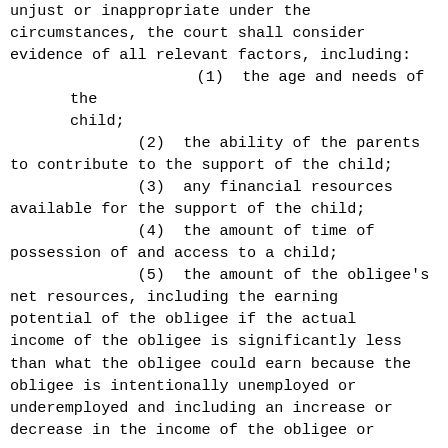unjust or inappropriate under the circumstances, the court shall consider evidence of all relevant factors, including:
(1)  the age and needs of the child;
(2)  the ability of the parents to contribute to the support of the child;
(3)  any financial resources available for the support of the child;
(4)  the amount of time of possession of and access to a child;
(5)  the amount of the obligee's net resources, including the earning potential of the obligee if the actual income of the obligee is significantly less than what the obligee could earn because the obligee is intentionally unemployed or underemployed and including an increase or decrease in the income of the obligee or